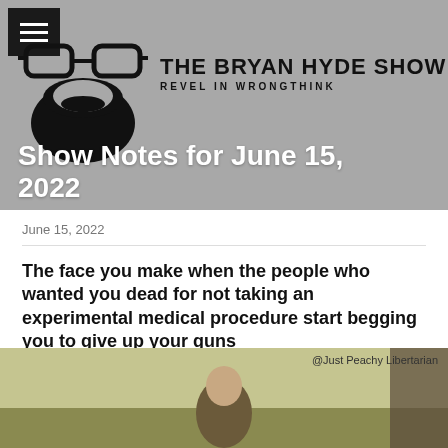[Figure (logo): The Bryan Hyde Show logo with glasses and beard illustration, grey banner background with hamburger menu icon]
Show Notes for June 15, 2022
June 15, 2022
The face you make when the people who wanted you dead for not taking an experimental medical procedure start begging you to give up your guns
[Figure (photo): Photo of a man outdoors with greenish background, watermarked @Just Peachy Libertarian]